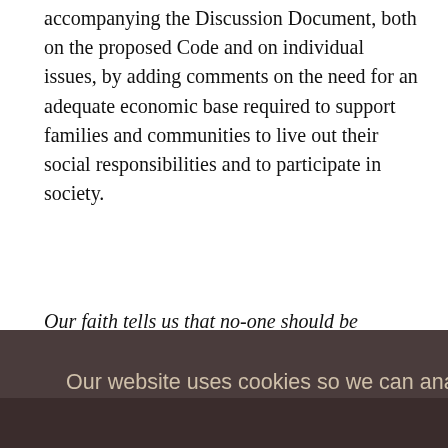accompanying the Discussion Document, both on the proposed Code and on individual issues, by adding comments on the need for an adequate economic base required to support families and communities to live out their social responsibilities and to participate in society.
Our faith tells us that no-one should be condemned to life on the
Our website uses cookies so we can analyse our site usage and give you the best experience. Click 'Accept' if you're happy with this, or click 'More' for information about cookies on our site, how to opt out, and how to disable cookies altogether. More
New
Accept